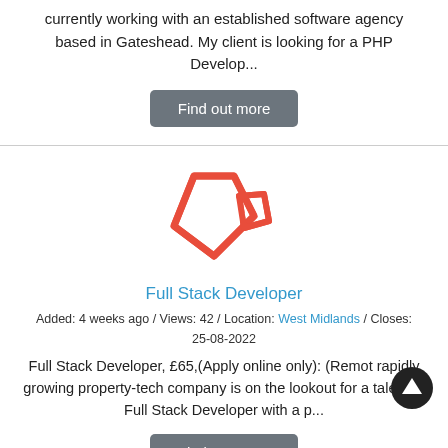currently working with an established software agency based in Gateshead. My client is looking for a PHP Develop...
Find out more
[Figure (logo): Laravel framework logo — red/orange geometric bird-like shape made of overlapping rhombus/polygon outlines]
Full Stack Developer
Added: 4 weeks ago / Views: 42 / Location: West Midlands / Closes: 25-08-2022
Full Stack Developer, £65,(Apply online only): (Remote rapidly growing property-tech company is on the lookout for a talented Full Stack Developer with a p...
Find out more